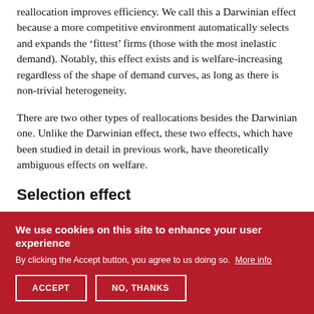reallocation improves efficiency. We call this a Darwinian effect because a more competitive environment automatically selects and expands the ‘fittest’ firms (those with the most inelastic demand). Notably, this effect exists and is welfare-increasing regardless of the shape of demand curves, as long as there is non-trivial heterogeneity.
There are two other types of reallocations besides the Darwinian one. Unlike the Darwinian effect, these two effects, which have been studied in detail in previous work, have theoretically ambiguous effects on welfare.
Selection effect
We use cookies on this site to enhance your user experience
By clicking the Accept button, you agree to us doing so. More info
ACCEPT
NO, THANKS